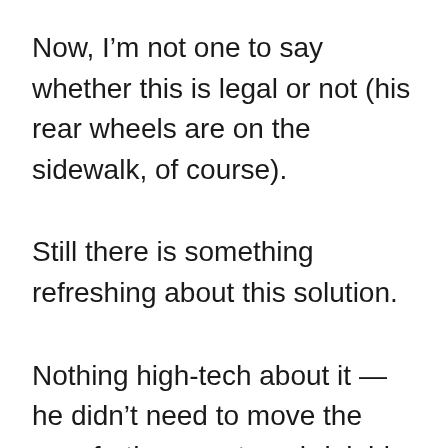Now, I'm not one to say whether this is legal or not (his rear wheels are on the sidewalk, of course).
Still there is something refreshing about this solution.
Nothing high-tech about it — he didn't need to move the cars further apart or shrink his own vehicle, rather just think